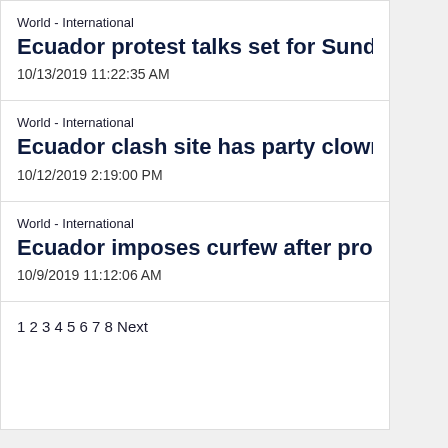World - International
Ecuador protest talks set for Sunday as ca
10/13/2019 11:22:35 AM
World - International
Ecuador clash site has party clowns, recy
10/12/2019 2:19:00 PM
World - International
Ecuador imposes curfew after protests pu
10/9/2019 11:12:06 AM
1 2 3 4 5 6 7 8 Next